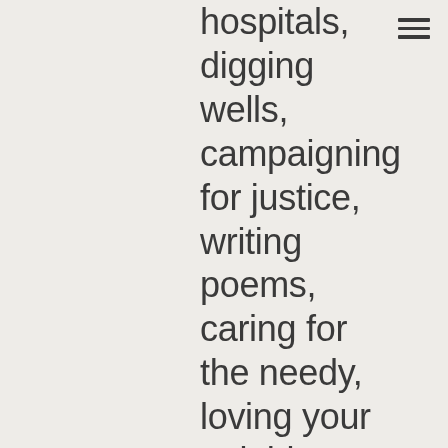hospitals, digging wells, campaigning for justice, writing poems, caring for the needy, loving your neighbor as yourself—will last into God's future. These activities are not simply ways of making the present life a little less beastly, a little more bearable, until the day when